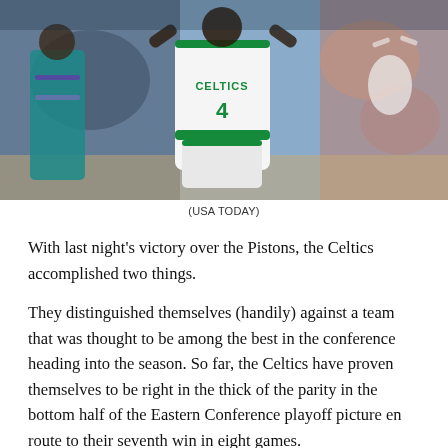[Figure (photo): Boston Celtics player #4 in white uniform raising hands, crowd in background, opposing player in teal uniform visible on left]
(USA TODAY)
With last night's victory over the Pistons, the Celtics accomplished two things.
They distinguished themselves (handily) against a team that was thought to be among the best in the conference heading into the season. So far, the Celtics have proven themselves to be right in the thick of the parity in the bottom half of the Eastern Conference playoff picture en route to their seventh win in eight games.
Over that timespan, Marcus Smart has shot 46% from